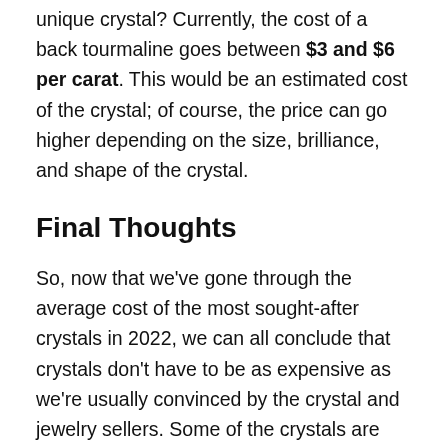unique crystal? Currently, the cost of a back tourmaline goes between $3 and $6 per carat. This would be an estimated cost of the crystal; of course, the price can go higher depending on the size, brilliance, and shape of the crystal.
Final Thoughts
So, now that we've gone through the average cost of the most sought-after crystals in 2022, we can all conclude that crystals don't have to be as expensive as we're usually convinced by the crystal and jewelry sellers. Some of the crystals are super affordable, even in their prime condition. So, if you're interested in crystal purchase, don't be afraid to check them